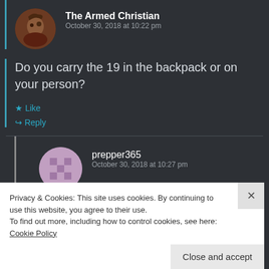The Armed Christian
October 30, 2018 at 10:22 pm
Do you carry the 19 in the backpack or on your person?
Like
Reply
prepper365
October 30, 2018 at 10:27 pm
Privacy & Cookies: This site uses cookies. By continuing to use this website, you agree to their use. To find out more, including how to control cookies, see here: Cookie Policy
Close and accept